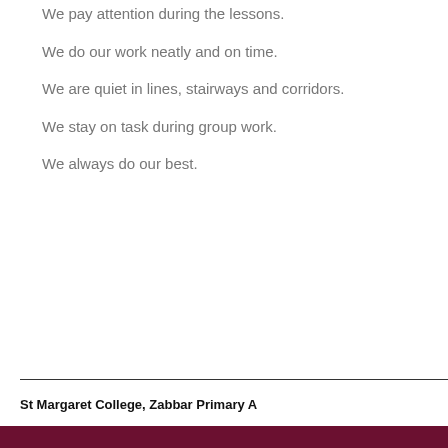We pay attention during the lessons.
We do our work neatly and on time.
We are quiet in lines, stairways and corridors.
We stay on task during group work.
We always do our best.
St Margaret College, Zabbar Primary A